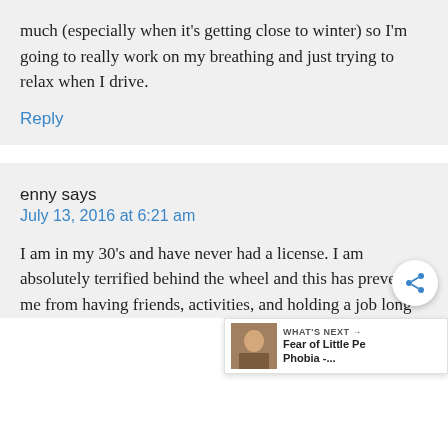much (especially when it's getting close to winter) so I'm going to really work on my breathing and just trying to relax when I drive.
Reply
enny says
July 13, 2016 at 6:21 am
I am in my 30's and have never had a license. I am absolutely terrified behind the wheel and this has prevented me from having friends, activities, and holding a job long